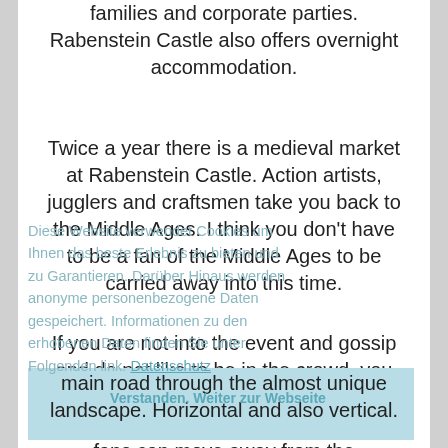families and corporate parties. Rabenstein Castle also offers overnight accommodation.
Twice a year there is a medieval market at Rabenstein Castle. Action artists, jugglers and craftsmen take you back to the Middle Ages. I think you don't have to be a fan of the Middle Ages to be carried away into this time.
If you are not into the event and gossip and do not like to be in the crowd, you can escape everyday life in the Ailsbachtal. Nature, hiking and climbing fans can move away from the
main road through the almost unique landscape. Horizontal and also vertical.